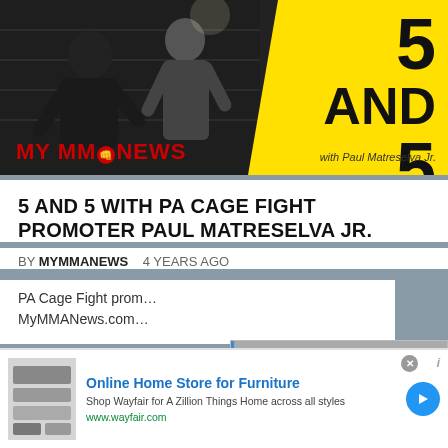[Figure (photo): Hero banner for MyMMANews '5 AND 5 with Paul Matreselva Jr.' feature. Left side shows MMA fighters/trainer photo in dark gym. Right side has bright yellow background with large bold text '5 AND 5' and italic text 'with Paul Matreselva Jr.' MyMMANews logo in red at bottom left.]
5 AND 5 WITH PA CAGE FIGHT PROMOTER PAUL MATRESELVA JR.
BY MYMMANEWS    4 YEARS AGO
PA Cage Fight prom... MyMMANews.com...
[Figure (photo): Video overlay showing two MMA training photos side by side: left panel shows a fighter throwing a kick, right panel shows a grappling/ground technique. Blue arrow navigation button visible on right side.]
[Figure (photo): Interviews section strip with dark background and 'INTERVIEWS' label in cyan/blue pill badge.]
Facebook founder Mark
[Figure (screenshot): Advertisement banner for Wayfair online furniture store. Shows furniture image on left, ad text 'Online Home Store for Furniture', subtext 'Shop Wayfair for A Zillion Things Home across all styles', URL 'www.wayfair.com', blue circular arrow button on right.]